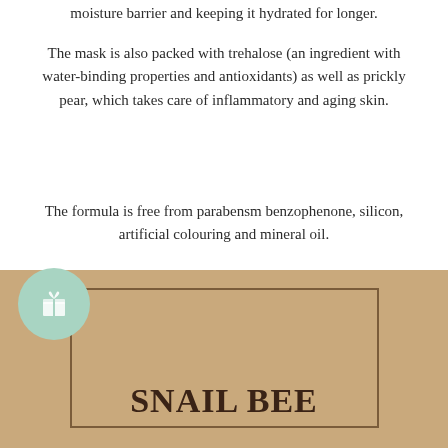moisture barrier and keeping it hydrated for longer.
The mask is also packed with trehalose (an ingredient with water-binding properties and antioxidants) as well as prickly pear, which takes care of inflammatory and aging skin.
The formula is free from parabensm benzophenone, silicon, artificial colouring and mineral oil.
[Figure (other): Pink circular SHOP button with navigation arrow on right side]
[Figure (other): Product packaging image with tan/beige background showing 'SNAIL BEE' product text in dark brown bold serif font inside a bordered rectangle, with a mint green gift icon circle on bottom left]